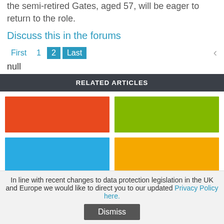the semi-retired Gates, aged 57, will be eager to return to the role.
Discuss this in the forums
First  1  2  Last  null
RELATED ARTICLES
[Figure (illustration): Four colored thumbnail rectangles in a 2x2 grid: orange (top-left), green (top-right), blue (bottom-left), yellow/gold (bottom-right)]
Microsoft stock buoyed despite quarterly
In line with recent changes to data protection legislation in the UK and Europe we would like to direct you to our updated Privacy Policy here.
Dismiss